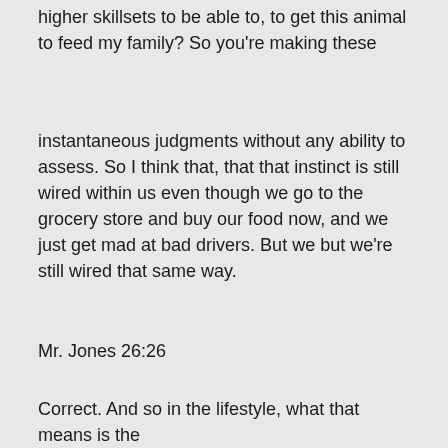higher skillsets to be able to, to get this animal to feed my family? So you're making these
instantaneous judgments without any ability to assess. So I think that, that that instinct is still wired within us even though we go to the grocery store and buy our food now, and we just get mad at bad drivers. But we but we're still wired that same way.
Mr. Jones 26:26
Correct. And so in the lifestyle, what that means is the